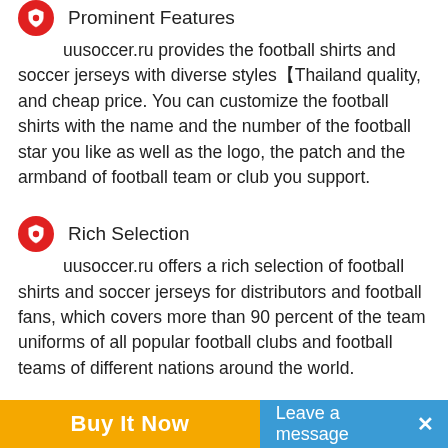Prominent Features
uusoccer.ru provides the football shirts and soccer jerseys with diverse styles【Thailand quality, and cheap price. You can customize the football shirts with the name and the number of the football star you like as well as the logo, the patch and the armband of football team or club you support.
Rich Selection
uusoccer.ru offers a rich selection of football shirts and soccer jerseys for distributors and football fans, which covers more than 90 percent of the team uniforms of all popular football clubs and football teams of different nations around the world.
Excellent Service
uusoccer.ru provides the highest standard of excellent services for the clients, which include high products qualification rate, global free shipping, fast product delivery, mail service and 24 hours online customer service.
Buy It Now
Leave a message